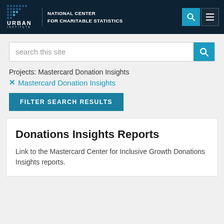URBAN INSTITUTE — NATIONAL CENTER FOR CHARITABLE STATISTICS
search this site
Projects: Mastercard Donation Insights
✕ Mastercard Donation Insights
FILTER SEARCH RESULTS
Donations Insights Reports
Link to the Mastercard Center for Inclusive Growth Donations Insights reports.